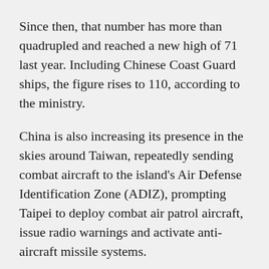Since then, that number has more than quadrupled and reached a new high of 71 last year. Including Chinese Coast Guard ships, the figure rises to 110, according to the ministry.
China is also increasing its presence in the skies around Taiwan, repeatedly sending combat aircraft to the island's Air Defense Identification Zone (ADIZ), prompting Taipei to deploy combat air patrol aircraft, issue radio warnings and activate anti-aircraft missile systems.
Japan also took off fighter jets in response to Chinese aircraft approaching its airspace.
The ruling Communist Party of China has long claimed Taiwan as part of its territory, despite never having ruled over it. Chinese leader Xi Jinping has